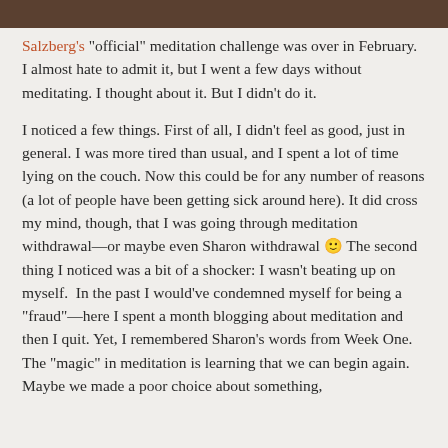[Figure (photo): Cropped top of an image, dark brownish strip at top of page]
Salzberg's "official" meditation challenge was over in February. I almost hate to admit it, but I went a few days without meditating. I thought about it. But I didn't do it.
I noticed a few things. First of all, I didn't feel as good, just in general. I was more tired than usual, and I spent a lot of time lying on the couch. Now this could be for any number of reasons (a lot of people have been getting sick around here). It did cross my mind, though, that I was going through meditation withdrawal—or maybe even Sharon withdrawal 🙂 The second thing I noticed was a bit of a shocker: I wasn't beating up on myself.  In the past I would've condemned myself for being a "fraud"—here I spent a month blogging about meditation and then I quit. Yet, I remembered Sharon's words from Week One. The "magic" in meditation is learning that we can begin again. Maybe we made a poor choice about something,